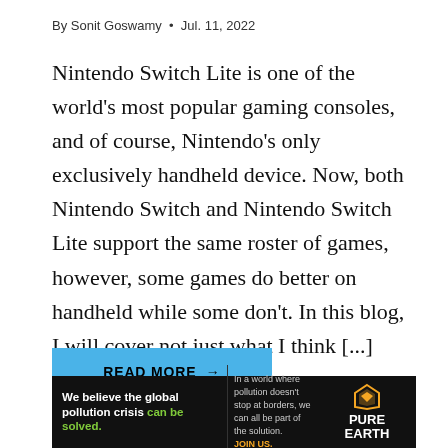By Sonit Goswamy  •  Jul. 11, 2022
Nintendo Switch Lite is one of the world's most popular gaming consoles, and of course, Nintendo's only exclusively handheld device. Now, both Nintendo Switch and Nintendo Switch Lite support the same roster of games, however, some games do better on handheld while some don't. In this blog, I will cover not just what I think [...]
READ MORE →
[Figure (infographic): Pure Earth advertisement banner. Left section: 'We believe the global pollution crisis can be solved.' Middle section: 'In a world where pollution doesn't stop at borders, we can all be part of the solution. JOIN US.' Right section: Pure Earth logo with diamond/arrow icon.]